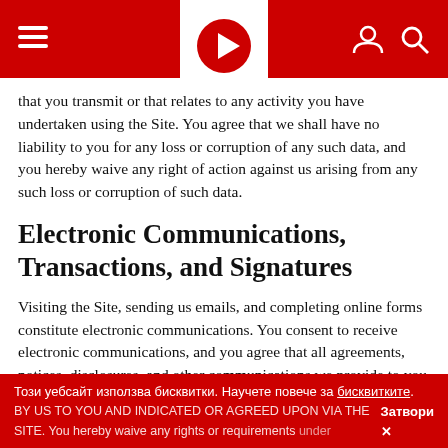[Navigation header with hamburger menu, logo, user and search icons]
that you transmit or that relates to any activity you have undertaken using the Site. You agree that we shall have no liability to you for any loss or corruption of any such data, and you hereby waive any right of action against us arising from any such loss or corruption of such data.
Electronic Communications, Transactions, and Signatures
Visiting the Site, sending us emails, and completing online forms constitute electronic communications. You consent to receive electronic communications, and you agree that all agreements, notices, disclosures, and other communications we provide to you electronically, via email and on the Site, satisfy any legal requirement that such communication be in writing. YOU HEREBY AGREE TO THE USE OF ELECTRONIC SIGNATURES, CONTRACTS, ORDERS, AND OTHER RECORDS, AND TO ELECTRONIC DELIVERY OF NOTICES, POLICIES, AND RECORDS BY US TO YOU AND INDICATED OR AGREED UPON VIA THE SITE. You hereby waive any rights or requirements under
Този уебсайт използва бисквитки. Научете повече за бисквитките. Затвори ✕